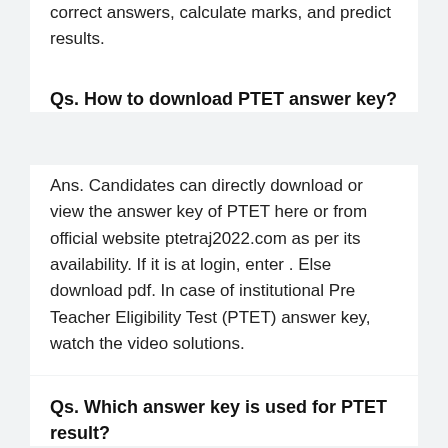correct answers, calculate marks, and predict results.
Qs. How to download PTET answer key?
Ans. Candidates can directly download or view the answer key of PTET here or from official website ptetraj2022.com as per its availability. If it is at login, enter . Else download pdf. In case of institutional Pre Teacher Eligibility Test (PTET) answer key, watch the video solutions.
Qs. Which answer key is used for PTET result?